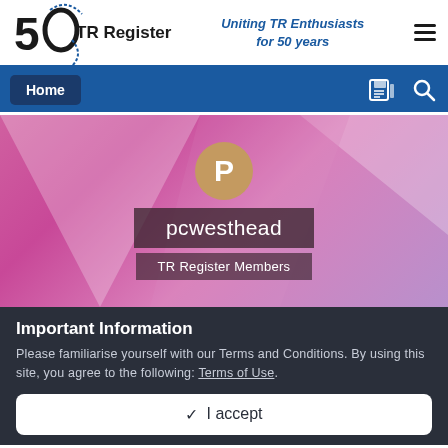[Figure (logo): TR Register 50th anniversary logo with stylized '50' and 'TR Register' text]
Uniting TR Enthusiasts for 50 years
Home
[Figure (screenshot): Profile banner with pink geometric background, avatar circle with letter P, username pcwesthead, and role TR Register Members]
Important Information
Please familiarise yourself with our Terms and Conditions. By using this site, you agree to the following: Terms of Use.
✓  I accept